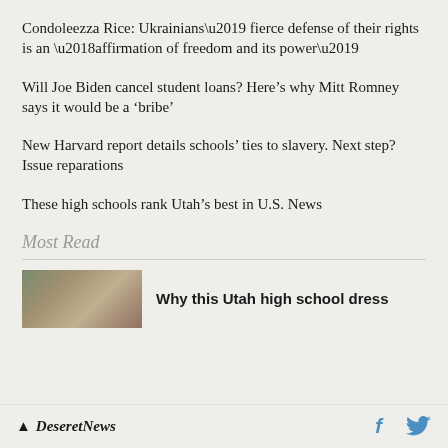Condoleezza Rice: Ukrainians’ fierce defense of their rights is an ‘affirmation of freedom and its power’
Will Joe Biden cancel student loans? Here’s why Mitt Romney says it would be a ‘bribe’
New Harvard report details schools’ ties to slavery. Next step? Issue reparations
These high schools rank Utah’s best in U.S. News
Most Read
[Figure (photo): Thumbnail photo of people, likely students or young women, for the Most Read article about Utah high school dress]
Why this Utah high school dress
Deseret News — social icons for Facebook and Twitter